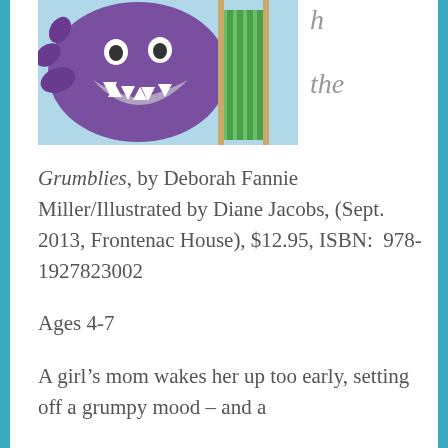[Figure (illustration): Children's book cover illustration showing a purple monster creature with open mouth full of teeth, wearing or alongside a figure in green striped clothing, on a light blue background.]
h

the
Grumblies, by Deborah Fannie Miller/Illustrated by Diane Jacobs, (Sept. 2013, Frontenac House), $12.95, ISBN:  978-1927823002
Ages 4-7
A girl’s mom wakes her up too early, setting off a grumpy mood – and a